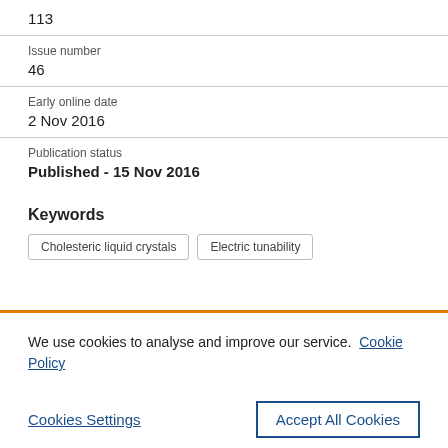113
Issue number
46
Early online date
2 Nov 2016
Publication status
Published - 15 Nov 2016
Keywords
Cholesteric liquid crystals
Electric tunability
We use cookies to analyse and improve our service. Cookie Policy
Cookies Settings
Accept All Cookies